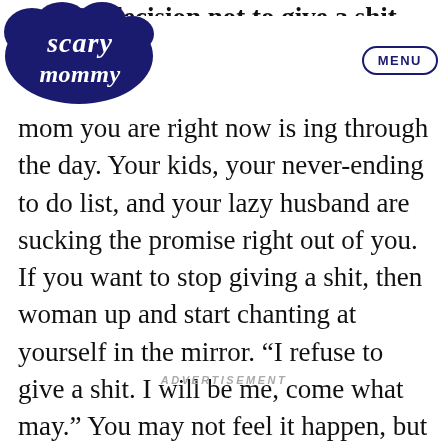[Figure (logo): Scary Mommy logo in navy blue, cursive cloud-style lettering]
MENU
make a decision not to give a shit. More mom you are right now is ing through the day. Your kids, your never-ending to do list, and your lazy husband are sucking the promise right out of you. If you want to stop giving a shit, then woman up and start chanting at yourself in the mirror. “I refuse to give a shit. I will be me, come what may.” You may not feel it happen, but it will change you.
ADVERTISEMENT